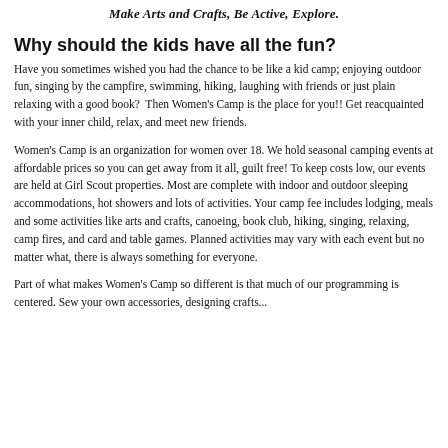Make Arts and Crafts, Be Active, Explore.
Why should the kids have all the fun?
Have you sometimes wished you had the chance to be like a kid camp; enjoying outdoor fun, singing by the campfire, swimming, hiking, laughing with friends or just plain relaxing with a good book?  Then Women's Camp is the place for you!! Get reacquainted with your inner child, relax, and meet new friends.
Women's Camp is an organization for women over 18. We hold seasonal camping events at affordable prices so you can get away from it all, guilt free! To keep costs low, our events are held at Girl Scout properties. Most are complete with indoor and outdoor sleeping accommodations, hot showers and lots of activities. Your camp fee includes lodging, meals and some activities like arts and crafts, canoeing, book club, hiking, singing, relaxing, camp fires, and card and table games. Planned activities may vary with each event but no matter what, there is always something for everyone.
Part of what makes Women's Camp so different is that much of our programming is centered. Sew your own accessories, designing crafts...